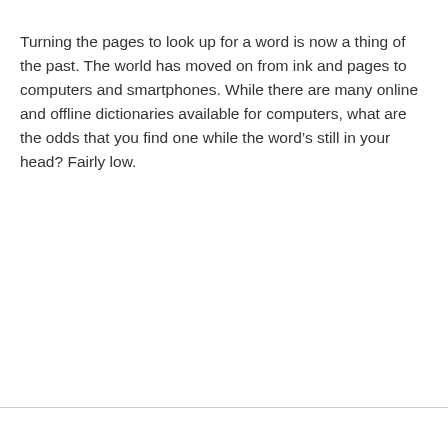Turning the pages to look up for a word is now a thing of the past. The world has moved on from ink and pages to computers and smartphones. While there are many online and offline dictionaries available for computers, what are the odds that you find one while the word's still in your head? Fairly low.